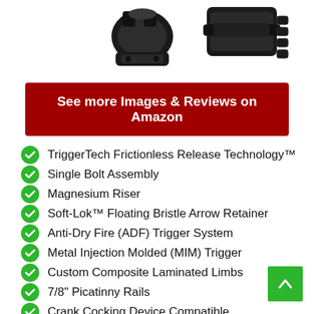[Figure (photo): Two black crossbow trigger/riser hardware parts shown against white background, partially cropped at top of page]
See more Images & Reviews on Amazon
TriggerTech Frictionless Release Technology™
Single Bolt Assembly
Magnesium Riser
Soft-Lok™ Floating Bristle Arrow Retainer
Anti-Dry Fire (ADF) Trigger System
Metal Injection Molded (MIM) Trigger
Custom Composite Laminated Limbs
7/8" Picatinny Rails
Crank Cocking Device Compatible
Finger Safety Reminders